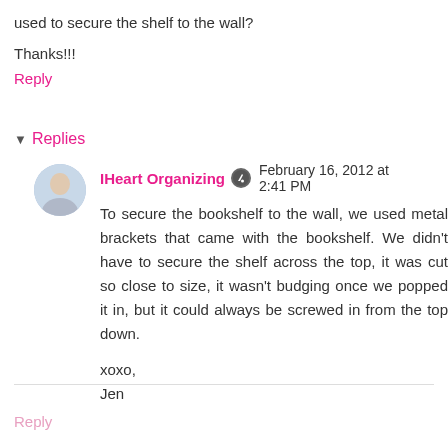used to secure the shelf to the wall?
Thanks!!!
Reply
▾ Replies
IHeart Organizing  February 16, 2012 at 2:41 PM
To secure the bookshelf to the wall, we used metal brackets that came with the bookshelf. We didn't have to secure the shelf across the top, it was cut so close to size, it wasn't budging once we popped it in, but it could always be screwed in from the top down.
xoxo,
Jen
Reply